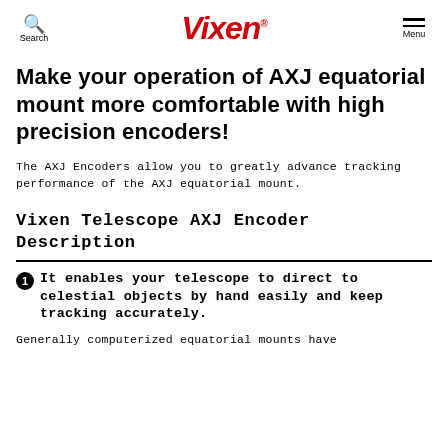Search | Vixen | Menu
Make your operation of AXJ equatorial mount more comfortable with high precision encoders!
The AXJ Encoders allow you to greatly advance tracking performance of the AXJ equatorial mount.
Vixen Telescope AXJ Encoder Description
1 It enables your telescope to direct to celestial objects by hand easily and keep tracking accurately.
Generally computerized equatorial mounts have